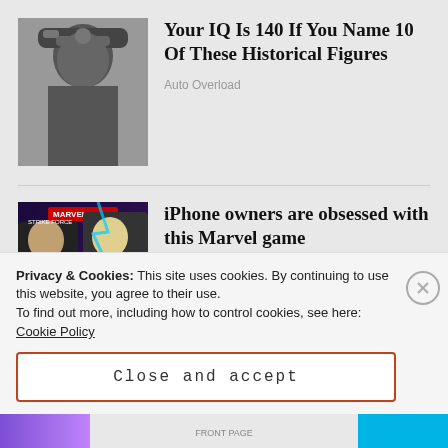[Figure (photo): Black and white photograph of a stern-looking man in military uniform with a decorated hat]
Your IQ Is 140 If You Name 10 Of These Historical Figures
Auto Overload
[Figure (photo): Colorful Marvel Strike Force game promotional image showing characters Kyrie and Mighty Thor with star ratings]
iPhone owners are obsessed with this Marvel game
MARVEL Strike Force
Privacy & Cookies: This site uses cookies. By continuing to use this website, you agree to their use. To find out more, including how to control cookies, see here: Cookie Policy
Close and accept